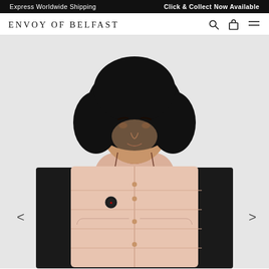Express Worldwide Shipping    Click & Collect Now Available
ENVOY OF BELFAST
[Figure (photo): Woman wearing a light pink/nude puffer vest (Moncler branded) with black long-sleeve underneath and red scarf, with curly black hair, against a light grey background. Navigation arrows on left and right sides of image.]